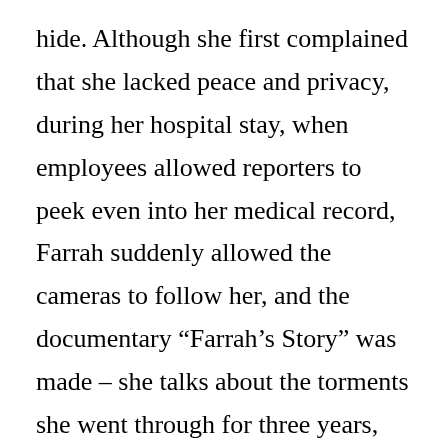hide. Although she first complained that she lacked peace and privacy, during her hospital stay, when employees allowed reporters to peek even into her medical record, Farrah suddenly allowed the cameras to follow her, and the documentary “Farrah’s Story” was made – she talks about the torments she went through for three years, about her illness, colon cancer.
The film, which was made 18 months ago with the help of Farrah’s friend and producer